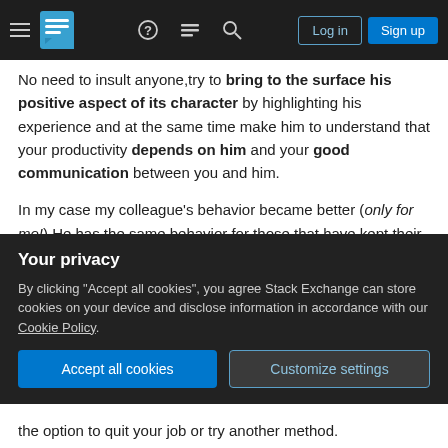Stack Exchange navigation bar with hamburger menu, logo, help, chat, search icons, Log in and Sign up buttons
No need to insult anyone, try to bring to the surface his positive aspect of its character by highlighting his experience and at the same time make him to understand that your productivity depends on him and your good communication between you and him.
In my case my colleague's behavior became better (only for me!) He has the same behavior for those that have kept their mouths shut.
The good case is that you'll work in a better
Your privacy
By clicking "Accept all cookies", you agree Stack Exchange can store cookies on your device and disclose information in accordance with our Cookie Policy.
Accept all cookies | Customize settings
the option to quit your job or try another method.